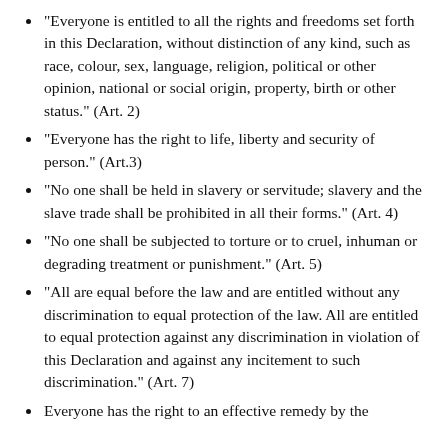“Everyone is entitled to all the rights and freedoms set forth in this Declaration, without distinction of any kind, such as race, colour, sex, language, religion, political or other opinion, national or social origin, property, birth or other status.” (Art. 2)
“Everyone has the right to life, liberty and security of person.” (Art.3)
“No one shall be held in slavery or servitude; slavery and the slave trade shall be prohibited in all their forms.” (Art. 4)
“No one shall be subjected to torture or to cruel, inhuman or degrading treatment or punishment.” (Art. 5)
“All are equal before the law and are entitled without any discrimination to equal protection of the law. All are entitled to equal protection against any discrimination in violation of this Declaration and against any incitement to such discrimination.” (Art. 7)
Everyone has the right to an effective remedy by the